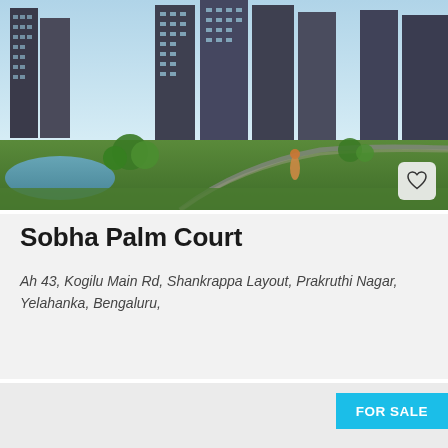[Figure (photo): Aerial rendering of Sobha Palm Court residential towers with lush greenery, a pond, and walking pathways in the foreground. Multiple high-rise apartment buildings visible.]
Sobha Palm Court
Ah 43, Kogilu Main Rd, Shankrappa Layout, Prakruthi Nagar, Yelahanka, Bengaluru,
FOR SALE